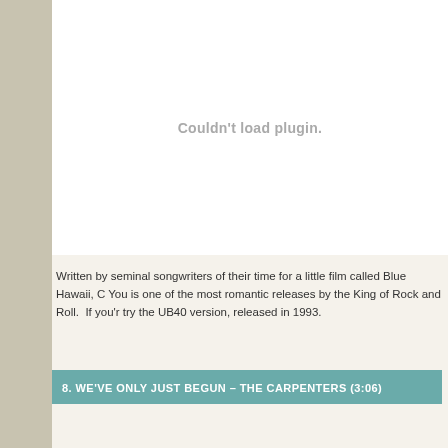[Figure (other): Plugin placeholder area showing 'Couldn't load plugin.' message in grey text]
Written by seminal songwriters of their time for a little film called Blue Hawaii, C... You is one of the most romantic releases by the King of Rock and Roll.  If you'r... try the UB40 version, released in 1993.
8. WE'VE ONLY JUST BEGUN – THE CARPENTERS (3:06)